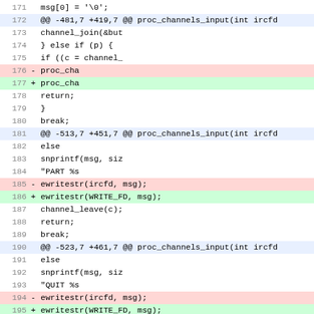Code diff showing proc_channels_input function modifications, lines 171-200
171         msg[0] = '\0';
172 @@ -481,7 +419,7 @@ proc_channels_input(int ircfd...
173                             channel_join(&but...
174                     } else if (p) {
175                             if ((c = channel_...
176 -                           proc_cha...
177 +                           proc_cha...
178                     return;
179                     }
180                     break;
181 @@ -513,7 +451,7 @@ proc_channels_input(int ircfd...
182                     else
183                             snprintf(msg, siz...
184                                     "PART %s...
185 -                   ewritestr(ircfd, msg);
186 +                   ewritestr(WRITE_FD, msg);
187                     channel_leave(c);
188                     return;
189                     break;
190 @@ -523,7 +461,7 @@ proc_channels_input(int ircfd...
191                     else
192                             snprintf(msg, siz...
193                                     "QUIT %s...
194 -                   ewritestr(ircfd, msg);
195 +                   ewritestr(WRITE_FD, msg);
196                     isrunning = 0;
197                     return;
198                     break;
199 @@ -536,11 +474,11 @@ proc_channels_input(int ircfd...
200         snprintf(msg, sizeof(msg), "%s"...